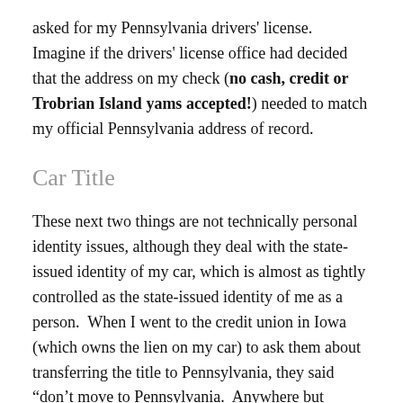asked for my Pennsylvania drivers' license.  Imagine if the drivers' license office had decided that the address on my check (no cash, credit or Trobrian Island yams accepted!) needed to match my official Pennsylvania address of record.
Car Title
These next two things are not technically personal identity issues, although they deal with the state-issued identity of my car, which is almost as tightly controlled as the state-issued identity of me as a person.  When I went to the credit union in Iowa (which owns the lien on my car) to ask them about transferring the title to Pennsylvania, they said “don’t move to Pennsylvania.  Anywhere but Pennsylvania.  That is the worst state to transfer a title to.”  I’m not kidding, that’s verbatim.  So, clearly that’s not